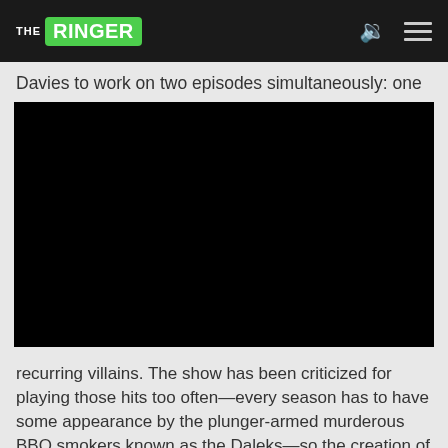THE RINGER
Davies to work on two episodes simultaneously: one
[Figure (screenshot): Black video player embed, fully black/blank screen]
recurring villains. The show has been criticized for playing those hits too often—every season has to have some appearance by the plunger-armed murderous BBQ smokers known as the Daleks—so the creation of a new and rather frightening adversary in the Weeping Angels was noteworthy. They made six other appearances and played a pivotal role in the departure